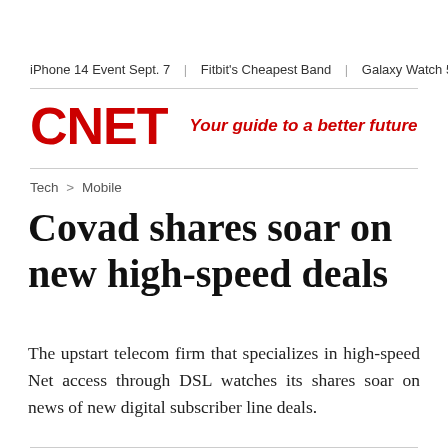iPhone 14 Event Sept. 7  |  Fitbit's Cheapest Band  |  Galaxy Watch 5 Heal
[Figure (logo): CNET logo in red bold text with tagline 'Your guide to a better future' in red italic]
Tech > Mobile
Covad shares soar on new high-speed deals
The upstart telecom firm that specializes in high-speed Net access through DSL watches its shares soar on news of new digital subscriber line deals.